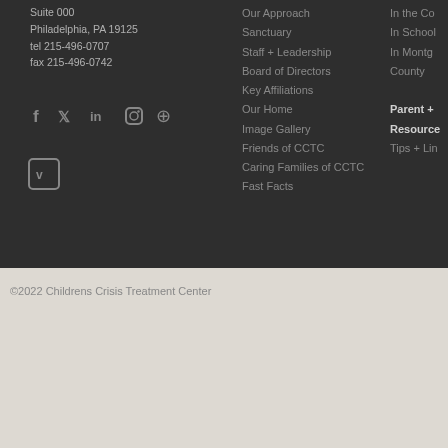Suite 000
Philadelphia, PA 19125
tel 215-496-0707
fax 215-496-0742
[Figure (other): Social media icons: Facebook, Twitter, LinkedIn, Instagram, Pinterest, Vimeo]
Our Approach
Sanctuary
Staff + Leadership
Board of Directors
Key Affiliations
Our Home
Image Gallery
Friends of CCTC
Caring Families of CCTC
Fast Facts
In the Co...
In School
In Montg... County
Parent + C... Resources
Tips + Lin...
©2022 Childrens Crisis Treatment Center